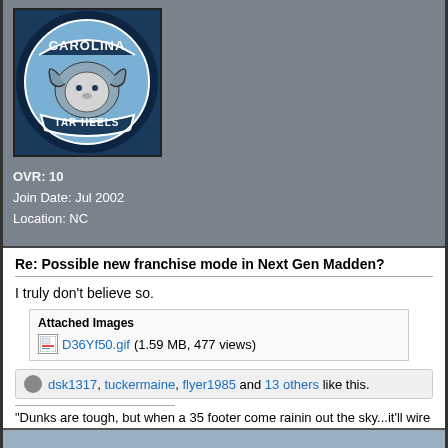[Figure (logo): Carolina Tar Heels ram logo on dark blue background]
OVR: 10
Join Date: Jul 2002
Location: NC
Re: Possible new franchise mode in Next Gen Madden?
I truly don't believe so.
Attached Images
D36Yf50.gif (1.59 MB, 477 views)
dsk1317, tuckermaine, flyer1985 and 13 others like this.
"Dunks are tough, but when a 35 footer come rainin out the sky...it'll wire you up"
07-01-2020, 08:13 AM